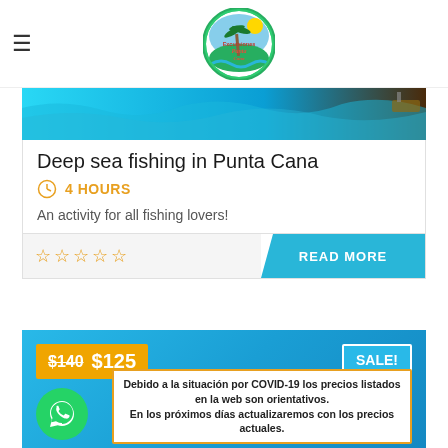[Figure (logo): Excursiones Punta Cana circular logo with palm tree and colorful design]
[Figure (photo): Deep sea fishing / ocean water hero image]
Deep sea fishing in Punta Cana
4 HOURS
An activity for all fishing lovers!
READ MORE
$140 $125
SALE!
Debido a la situación por COVID-19 los precios listados en la web son orientativos. En los próximos días actualizaremos con los precios actuales.